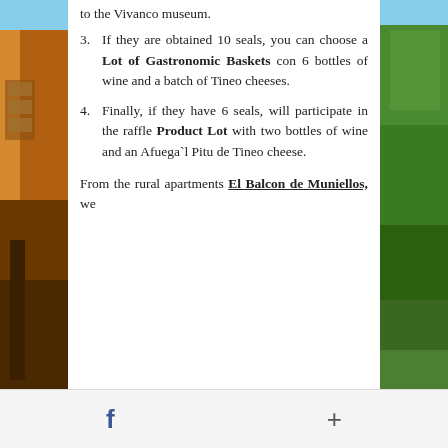to the Vivanco museum.
3. If they are obtained 10 seals, you can choose a Lot of Gastronomic Baskets con 6 bottles of wine and a batch of Tineo cheeses.
4. Finally, if they have 6 seals, will participate in the raffle Product Lot with two bottles of wine and an Afuega'l Pitu de Tineo cheese.
From the rural apartments El Balcon de Muniellos, we
[Figure (photo): Left side: photo of a yellow/orange building with balcony and stairs. Right side: photo of green trees.]
f  +